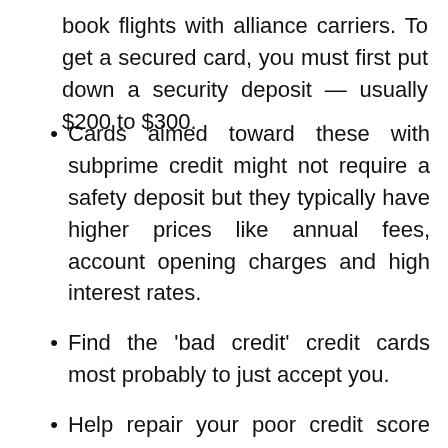book flights with alliance carriers. To get a secured card, you must first put down a security deposit — usually $200 to $300.
Cards aimed toward these with subprime credit might not require a safety deposit but they typically have higher prices like annual fees, account opening charges and high interest rates.
Find the 'bad credit' credit cards most probably to just accept you.
Help repair your poor credit score and examine our best bank cards for bad credit.